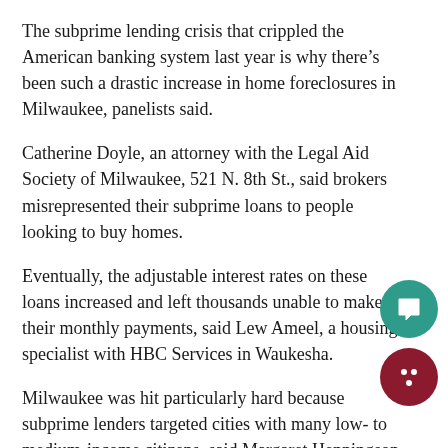The subprime lending crisis that crippled the American banking system last year is why there’s been such a drastic increase in home foreclosures in Milwaukee, panelists said.
Catherine Doyle, an attorney with the Legal Aid Society of Milwaukee, 521 N. 8th St., said brokers misrepresented their subprime loans to people looking to buy homes.
Eventually, the adjustable interest rates on these loans increased and left thousands unable to make their monthly payments, said Lew Ameel, a housing specialist with HBC Services in Waukesha.
Milwaukee was hit particularly hard because subprime lenders targeted cities with many low- to medium-income citizens, said Margaret Henningson, founder and vice-president of Milwaukee’s Legacy Bank, 2102 W. Fond Du Lac Ave. She said her bank tried to steer them away from buying homes they couldn’t afford, but had little success.
“When people have house fever, it’s hard to talk them out of it,” she said.